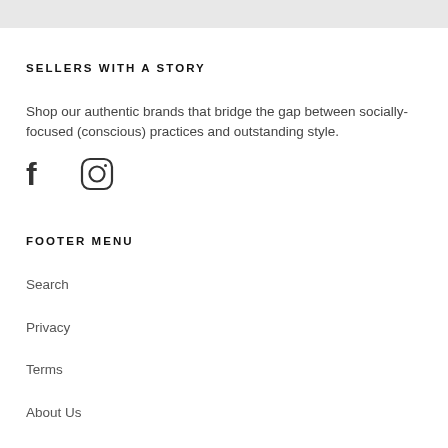SELLERS WITH A STORY
Shop our authentic brands that bridge the gap between socially-focused (conscious) practices and outstanding style.
[Figure (illustration): Social media icons: Facebook (f) and Instagram (circle camera icon)]
FOOTER MENU
Search
Privacy
Terms
About Us
Contact